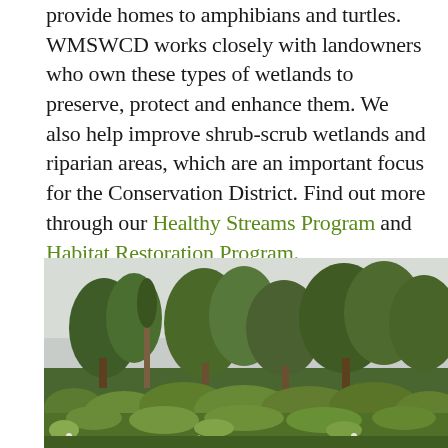provide homes to amphibians and turtles. WMSWCD works closely with landowners who own these types of wetlands to preserve, protect and enhance them. We also help improve shrub-scrub wetlands and riparian areas, which are an important focus for the Conservation District. Find out more through our Healthy Streams Program and Habitat Restoration Program.
[Figure (photo): A photograph of a natural riparian/wetland area with lush green shrubs and grasses in the foreground and a mix of deciduous and coniferous trees in the background under an overcast sky.]